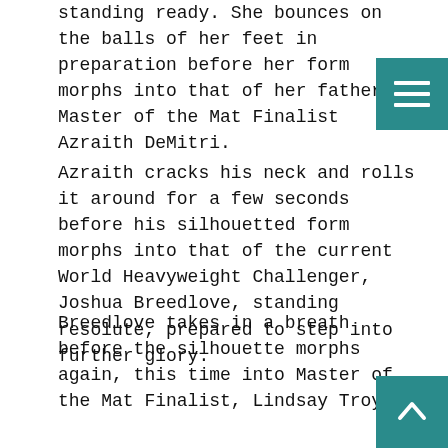standing ready. She bounces on the balls of her feet in preparation before her form morphs into that of her father, Master of the Mat Finalist Azraith DeMitri.
Azraith cracks his neck and rolls it around for a few seconds before his silhouetted form morphs into that of the current World Heavyweight Challenger, Joshua Breedlove, standing resolute, prepared to step into further glory.
Breedlove takes in a breath before the silhouette morphs again, this time into Master of the Mat Finalist, Lindsay Troy.
The silhouette begins changing again, faster and faster, switching from one SHOOT Project Soldier to another. The form steps forward through the curtain...
And we're taken to the stark brightness of the dese It's empty and barren, the ghost of a wind blowing the